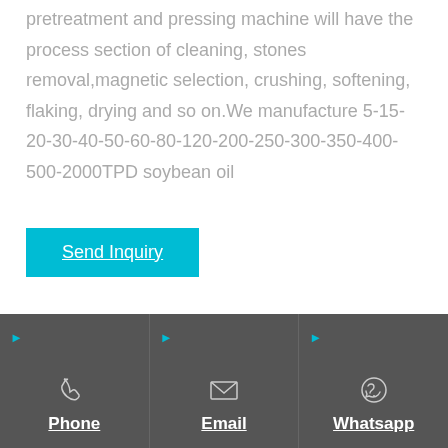pretreatment and pressing machine will have the process section of cleaning, stones removal,magnetic selection, crushing, softening, flaking, drying and so on.We manufacture 5-15-20-30-40-50-60-80-120-200-250-300-350-400-500-2000TPD soybean oil
Send Inquiry
Phone | Email | Whatsapp